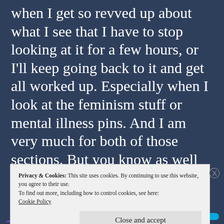when I get so revved up about what I see that I have to stop looking at it for a few hours, or I'll keep going back to it and get all worked up. Especially when I look at the feminism stuff or mental illness pins. And I am very much for both of those sections. But you know as well as I do that any old fool can post things without having an inkling of knowledge to back
Privacy & Cookies: This site uses cookies. By continuing to use this website, you agree to their use.
To find out more, including how to control cookies, see here: Cookie Policy
Close and accept